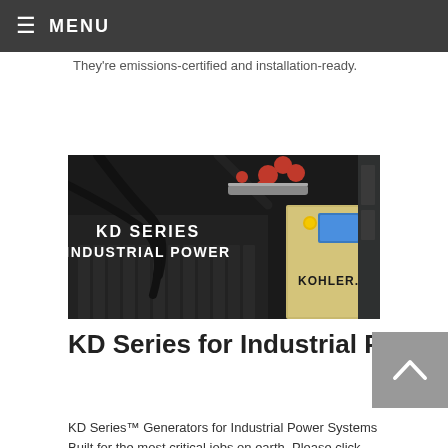≡ MENU
They're emissions-certified and installation-ready.
[Figure (photo): KD Series Industrial Power generator by Kohler — close-up of engine components with red fittings, black hoses, and a gold control cabinet with Kohler branding. Text overlay reads 'KD SERIES INDUSTRIAL POWER'.]
KD Series for Industrial Power
KD Series™ Generators for Industrial Power Systems Built for the most critical jobs on earth. Please click here to